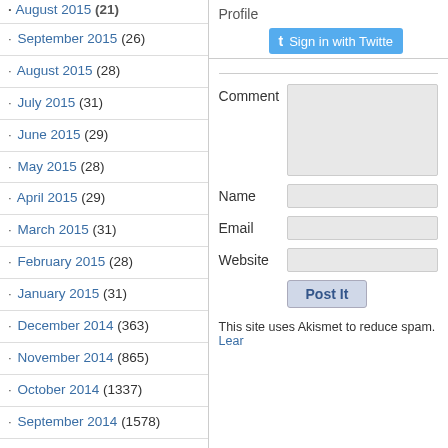· August 2015 (26)
· September 2015 (26)
· August 2015 (28)
· July 2015 (31)
· June 2015 (29)
· May 2015 (28)
· April 2015 (29)
· March 2015 (31)
· February 2015 (28)
· January 2015 (31)
· December 2014 (363)
· November 2014 (865)
· October 2014 (1337)
· September 2014 (1578)
· August 2014 (988)
· July 2014 (1354)
· June 2014 (699)
· May 2014 (591)
· April 2014 (798)
Profile
[Figure (screenshot): Sign in with Twitter button]
Comment
Name
Email
Website
Post It
This site uses Akismet to reduce spam. Lear